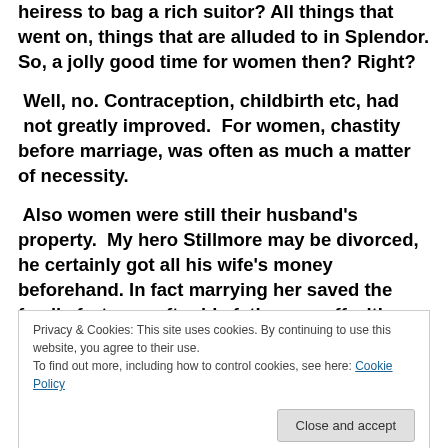heiress to bag a rich suitor? All things that went on, things that are alluded to in Splendor. So, a jolly good time for women then? Right?
Well, no. Contraception, childbirth etc, had not greatly improved. For women, chastity before marriage, was often as much a matter of necessity.
Also women were still their husband's property. My hero Stillmore may be divorced, he certainly got all his wife's money beforehand. In fact marrying her saved the family fortunes after his father ran off with a
Privacy & Cookies: This site uses cookies. By continuing to use this website, you agree to their use.
To find out more, including how to control cookies, see here: Cookie Policy
Close and accept
involves marriage, it will be one in name only, since he